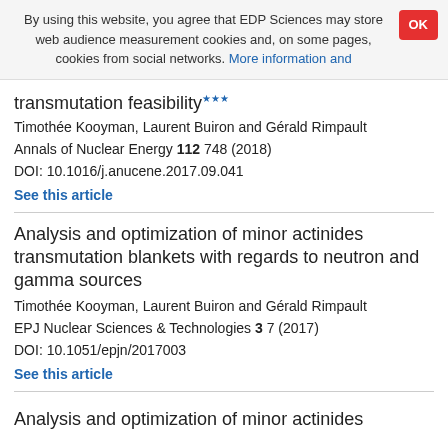By using this website, you agree that EDP Sciences may store web audience measurement cookies and, on some pages, cookies from social networks. More information and
transmutation feasibility
Timothée Kooyman, Laurent Buiron and Gérald Rimpault
Annals of Nuclear Energy 112 748 (2018)
DOI: 10.1016/j.anucene.2017.09.041
See this article
Analysis and optimization of minor actinides transmutation blankets with regards to neutron and gamma sources
Timothée Kooyman, Laurent Buiron and Gérald Rimpault
EPJ Nuclear Sciences & Technologies 3 7 (2017)
DOI: 10.1051/epjn/2017003
See this article
Analysis and optimization of minor actinides